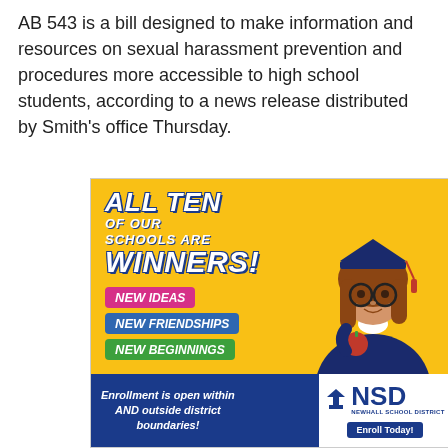AB 543 is a bill designed to make information and resources on sexual harassment prevention and procedures more accessible to high school students, according to a news release distributed by Smith's office Thursday.
[Figure (infographic): Newhall School District advertisement. Yellow background with a girl in graduation cap and gown holding an apple. Text: ALL TEN OF OUR SCHOOLS ARE WINNERS! Badges: NEW IDEAS, NEW FRIENDSHIPS, NEW BEGINNINGS. Bottom blue section: Enrollment is open within AND outside district boundaries! NSD Newhall School District logo and Enroll Today! button.]